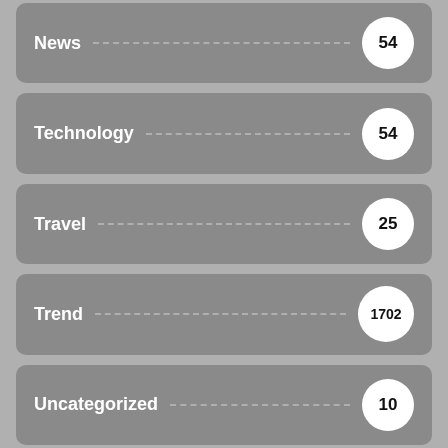News 54
Technology 54
Travel 25
Trend 1702
Uncategorized 10